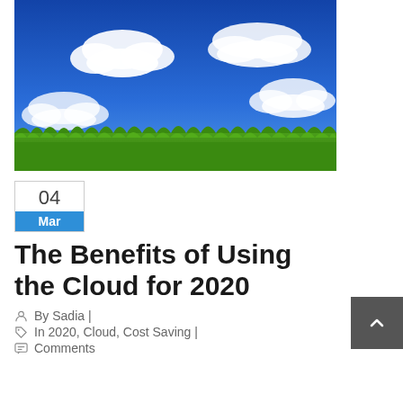[Figure (photo): Outdoor photo of a bright blue sky with white fluffy clouds and lush green grass field in the foreground]
The Benefits of Using the Cloud for 2020
04 Mar
By Sadia | In 2020, Cloud, Cost Saving | Comments